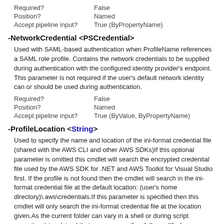| Required? | False |
| Position? | Named |
| Accept pipeline input? | True (ByPropertyName) |
-NetworkCredential <PSCredential>
Used with SAML-based authentication when ProfileName references a SAML role profile. Contains the network credentials to be supplied during authentication with the configured identity provider's endpoint. This parameter is not required if the user's default network identity can or should be used during authentication.
| Required? | False |
| Position? | Named |
| Accept pipeline input? | True (ByValue, ByPropertyName) |
-ProfileLocation <String>
Used to specify the name and location of the ini-format credential file (shared with the AWS CLI and other AWS SDKs)If this optional parameter is omitted this cmdlet will search the encrypted credential file used by the AWS SDK for .NET and AWS Toolkit for Visual Studio first. If the profile is not found then the cmdlet will search in the ini-format credential file at the default location: (user's home directory)\.aws\credentials.If this parameter is specified then this cmdlet will only search the ini-format credential file at the location given.As the current folder can vary in a shell or during script execution it is advised that you use specify a fully qualified